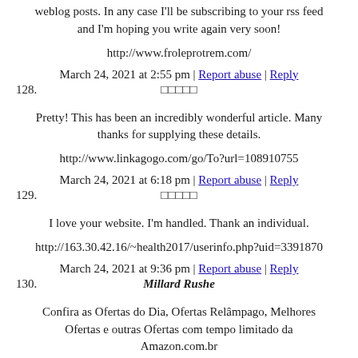weblog posts. In any case I'll be subscribing to your rss feed and I'm hoping you write again very soon!
http://www.froleprotrem.com/
March 24, 2021 at 2:55 pm | Report abuse | Reply
128. □□□□□
Pretty! This has been an incredibly wonderful article. Many thanks for supplying these details.
http://www.linkagogo.com/go/To?url=108910755
March 24, 2021 at 6:18 pm | Report abuse | Reply
129. □□□□□
I love your website. I'm handled. Thank an individual.
http://163.30.42.16/~health2017/userinfo.php?uid=3391870
March 24, 2021 at 9:36 pm | Report abuse | Reply
130. Millard Rushe
Confira as Ofertas do Dia, Ofertas Relâmpago, Melhores Ofertas e outras Ofertas com tempo limitado da Amazon.com.br